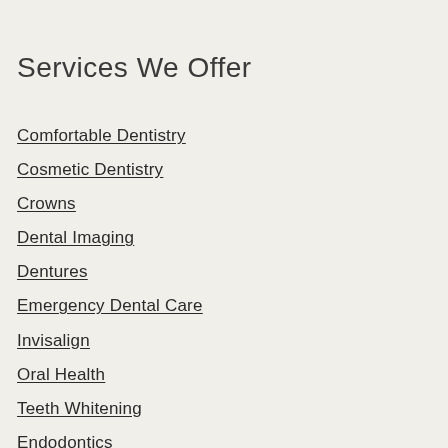Services We Offer
Comfortable Dentistry
Cosmetic Dentistry
Crowns
Dental Imaging
Dentures
Emergency Dental Care
Invisalign
Oral Health
Teeth Whitening
Endodontics
Oral Surgery